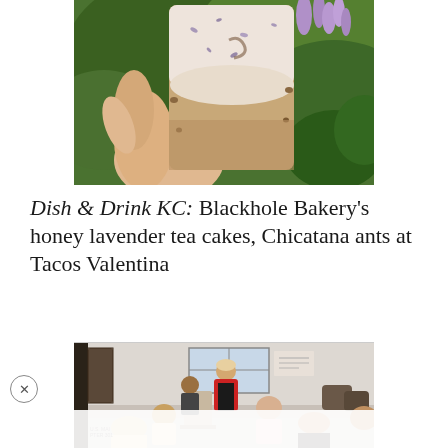[Figure (photo): A hand holding up a rectangular honey lavender tea cake with white glaze and visible lavender pieces, set against a background of green foliage and purple lavender flowers.]
Dish & Drink KC: Blackhole Bakery's honey lavender tea cakes, Chicatana ants at Tacos Valentina
[Figure (photo): Indoor scene showing people gathered in what appears to be a lobby or community space. A person in a red jacket and dark shirt stands at the center addressing a group of seated individuals. Signage visible in the background. A close button (X) appears in the lower left corner of the image.]